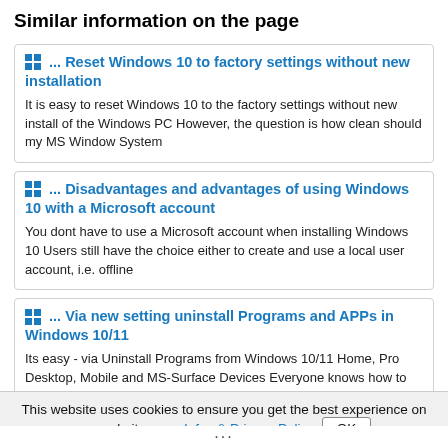Similar information on the page
... Reset Windows 10 to factory settings without new installation
It is easy to reset Windows 10 to the factory settings without new install of the Windows PC However, the question is how clean should my MS Window System
... Disadvantages and advantages of using Windows 10 with a Microsoft account
You dont have to use a Microsoft account when installing Windows 10 Users still have the choice either to create and use a local user account, i.e. offline
... Via new setting uninstall Programs and APPs in Windows 10/11
Its easy - via Uninstall Programs from Windows 10/11 Home, Pro Desktop, Mobile and MS-Surface Devices Everyone knows how to find installed programs in
... Easy ways to get the Windows 10/11 product key not a hack
There are easy ways to get the Windows 11, 10, product key without
This website uses cookies to ensure you get the best experience on our website more Infos & Privacy Policy OK
...